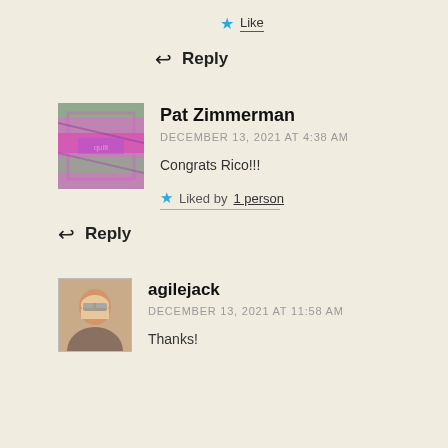★ Like
↩ Reply
Pat Zimmerman
DECEMBER 13, 2021 AT 4:38 AM
Congrats Rico!!!
★ Liked by 1 person
↩ Reply
[Figure (photo): Avatar image for Pat Zimmerman showing a colorful quilt or textile artwork]
agilejack
DECEMBER 13, 2021 AT 11:58 AM
[Figure (photo): Avatar photo for agilejack showing a person with glasses]
Thanks!